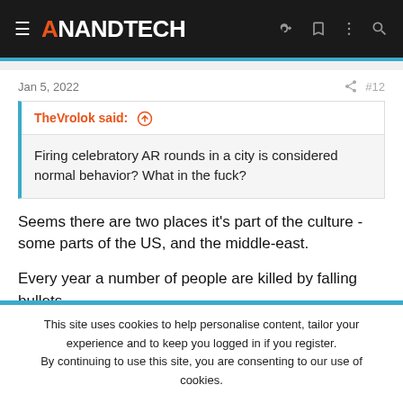AnandTech
Jan 5, 2022  #12
TheVrolok said: ↑

Firing celebratory AR rounds in a city is considered normal behavior? What in the fuck?
Seems there are two places it's part of the culture - some parts of the US, and the middle-east.

Every year a number of people are killed by falling bullets.
This site uses cookies to help personalise content, tailor your experience and to keep you logged in if you register.
By continuing to use this site, you are consenting to our use of cookies.